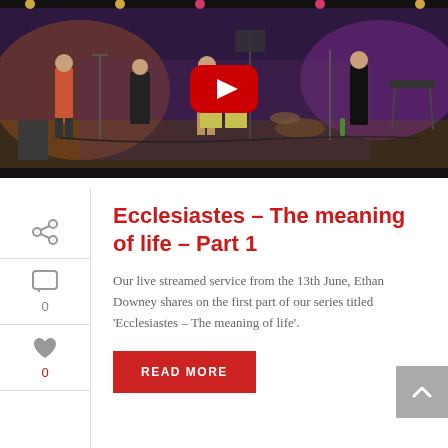[Figure (screenshot): YouTube video thumbnail showing a live-streamed church worship service on a stage with musicians and purple/red stage lighting. A large red YouTube play button is centered on the image.]
Ecclesiastes – The meaning of life – Part 1
Our live streamed service from the 13th June, Ethan Downey shares on the first part of our series titled 'Ecclesiastes – The meaning of life'.
READ MORE